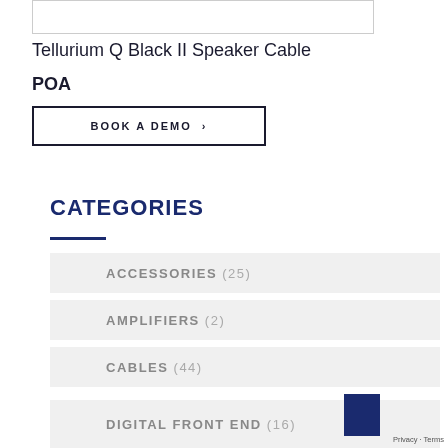[Figure (photo): Product image area (partial, cropped at top)]
Tellurium Q Black II Speaker Cable
POA
BOOK A DEMO ›
CATEGORIES
ACCESSORIES (25)
AMPLIFIERS (2)
CABLES (44)
DIGITAL FRONT END (16)